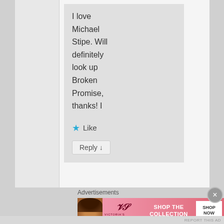I love Michael Stipe. Will definitely look up Broken Promise, thanks! I
★ Like
Reply ↓
Advertisements
[Figure (photo): Victoria's Secret advertisement banner showing a model on the left, VS logo in center, 'SHOP THE COLLECTION' text, and 'SHOP NOW' button on the right.]
REPORT THIS AD